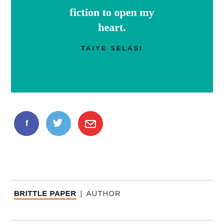fiction to open my heart.
TAIYE SELASI
[Figure (infographic): Three social share icon circles: Facebook (dark blue), Twitter (light blue), Email (red)]
BRITTLE PAPER | AUTHOR